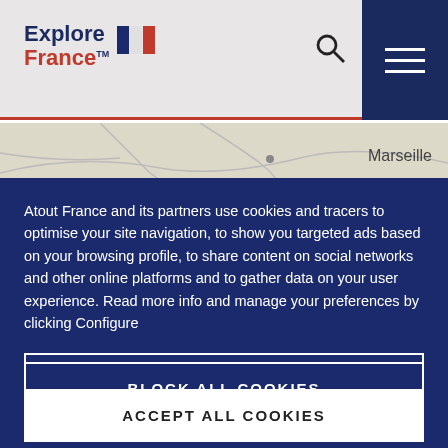[Figure (logo): Explore France logo with French flag]
[Figure (map): Partial map background showing Marseille region]
Atout France and its partners use cookies and tracers to optimise your site navigation, to show you targeted ads based on your browsing profile, to share content on social networks and other online platforms and to gather data on your user experience. Read more info and manage your preferences by clicking Configure
CONFIGURE
BLOCK ALL COOKIES
ACCEPT ALL COOKIES